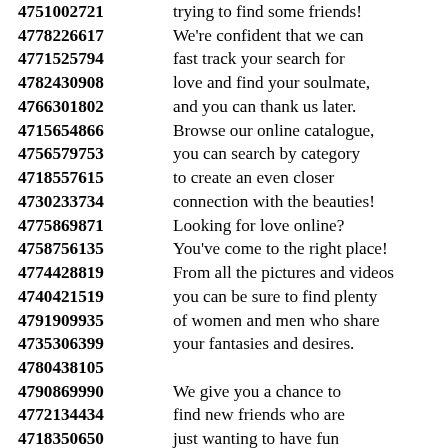4751002721 trying to find some friends!
4778226617 We're confident that we can
4771525794 fast track your search for
4782430908 love and find your soulmate,
4766301802 and you can thank us later.
4715654866 Browse our online catalogue,
4756579753 you can search by category
4718557615 to create an even closer
4730233734 connection with the beauties!
4775869871 Looking for love online?
4758756135 You've come to the right place!
4774428819 From all the pictures and videos
4740421519 you can be sure to find plenty
4791909935 of women and men who share
4735306399 your fantasies and desires.
4780438105
4790869990 We give you a chance to
4772134434 find new friends who are
4718350650 just wanting to have fun
4753953334 through phone calls and emails!
4781231139 Our website is easy to use,
4742766281 a completely free dating site,
4760576397 quick and easy to join up.
4752714640 We invite all members and
4772928937 visitors from all over the world
4799303835 to join our global network